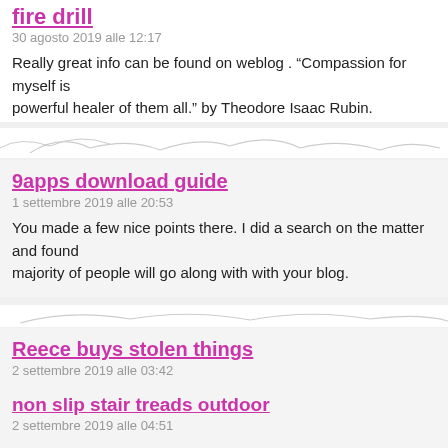fire drill
30 agosto 2019 alle 12:17
Really great info can be found on weblog . “Compassion for myself is powerful healer of them all.” by Theodore Isaac Rubin.
9apps download guide
1 settembre 2019 alle 20:53
You made a few nice points there. I did a search on the matter and found majority of people will go along with with your blog.
Reece buys stolen things
2 settembre 2019 alle 03:42
Pretty great post. I simply stumbled upon your blog and wanted to mention I have really loved surfing around your blog posts. In any case I’ll be subscribing to your feed and I am hoping you write again soon!
non slip stair treads outdoor
2 settembre 2019 alle 04:51